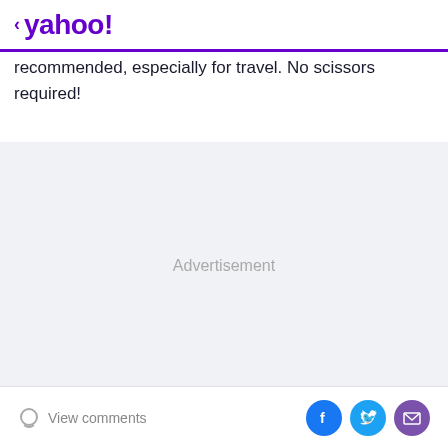< yahoo!
recommended, especially for travel. No scissors required!
[Figure (other): Advertisement placeholder block with light gray background and centered 'Advertisement' text]
View comments | Facebook share | Twitter share | Email share